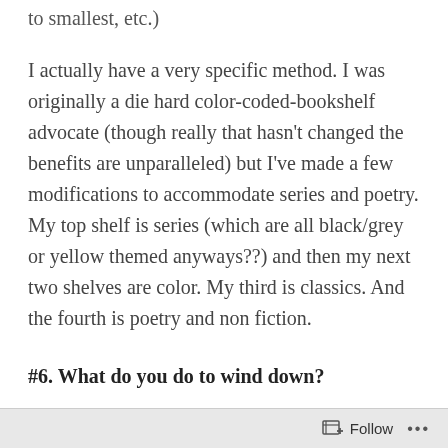to smallest, etc.)
I actually have a very specific method. I was originally a die hard color-coded-bookshelf advocate (though really that hasn't changed the benefits are unparalleled) but I've made a few modifications to accommodate series and poetry. My top shelf is series (which are all black/grey or yellow themed anyways??) and then my next two shelves are color. My third is classics. And the fourth is poetry and non fiction.
#6. What do you do to wind down?
Light a candle in my room, crack open my window,
Follow